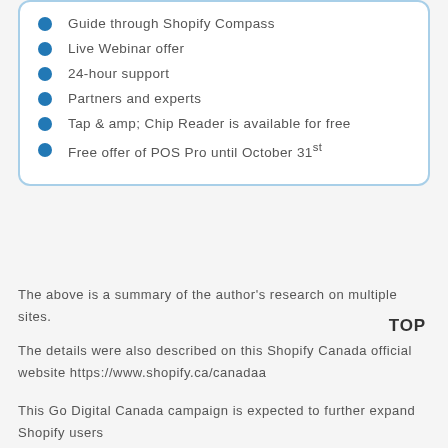Guide through Shopify Compass
Live Webinar offer
24-hour support
Partners and experts
Tap & amp; Chip Reader is available for free
Free offer of POS Pro until October 31st
The above is a summary of the author's research on multiple sites.
TOP
The details were also described on this Shopify Canada official website https://www.shopify.ca/canadaa
This Go Digital Canada campaign is expected to further expand Shopify users